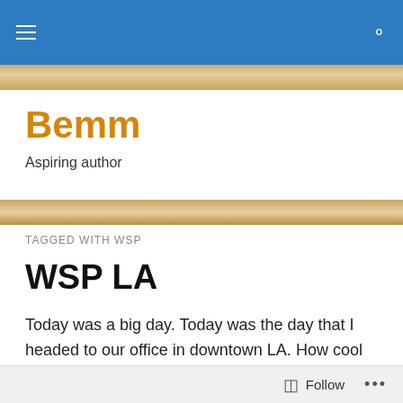Bemm – Aspiring author (navigation bar)
Bemm
Aspiring author
TAGGED WITH WSP
WSP LA
Today was a big day. Today was the day that I headed to our office in downtown LA. How cool doesn't that sound?
Unfortunately though, there are always things going wrong when you have something big ahead of you. So even if I
Follow